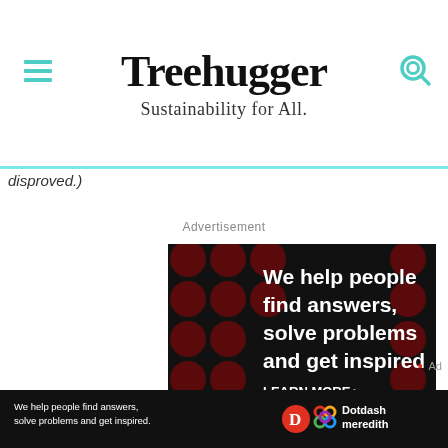Treehugger — Sustainability for All.
disproved.)
Advertisement
[Figure (illustration): Dotdash Meredith advertisement: dark background with dark red polka dots, white bold text reading 'We help people find answers, solve problems and get inspired.' with a red period. Below: 'LEARN MORE' with arrow. Dotdash D logo (red circle with white D) and Meredith colorful knot logo.]
[Figure (illustration): Sticky bottom ad bar: black background with small text 'We help people find answers, solve problems and get inspired.' Dotdash D logo and Dotdash Meredith logo with text 'Dotdash meredith'.]